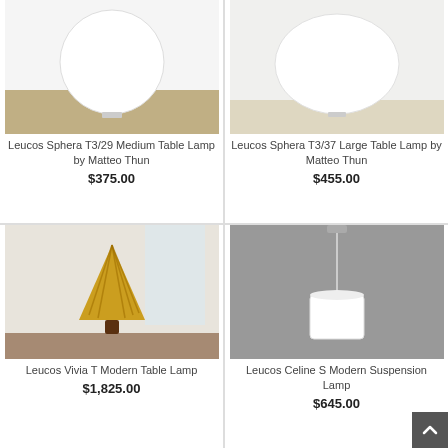[Figure (photo): Leucos Sphera T3/29 Medium Table Lamp - white globe lamp on wooden surface]
Leucos Sphera T3/29 Medium Table Lamp by Matteo Thun
$375.00
[Figure (photo): Leucos Sphera T3/37 Large Table Lamp - white oval globe lamp on surface]
Leucos Sphera T3/37 Large Table Lamp by Matteo Thun
$455.00
[Figure (photo): Leucos Vivia T Modern Table Lamp - amber/yellow cone shade with dark base]
Leucos Vivia T Modern Table Lamp
$1,825.00
[Figure (photo): Leucos Celine S Modern Suspension Lamp - white cylindrical pendant lamp hanging from grey ceiling]
Leucos Celine S Modern Suspension Lamp
$645.00